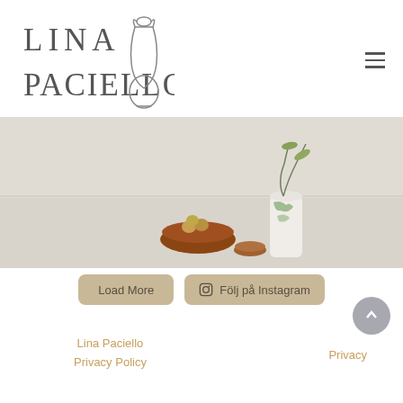[Figure (logo): Lina Paciello brand logo with stylized text and amphora/vase illustration in outline style]
[Figure (photo): Photo of a white surface with a terracotta bowl filled with eggs, a small terracotta bowl, and a white vase with green plant]
Load More
Följ på Instagram
Lina Paciello Privacy Policy
Privacy